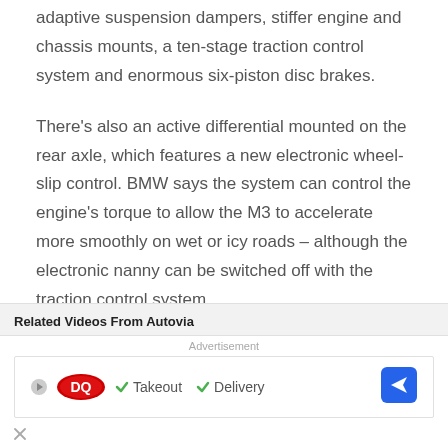Upgrades over the outgoing model include all-new adaptive suspension dampers, stiffer engine and chassis mounts, a ten-stage traction control system and enormous six-piston disc brakes.
There's also an active differential mounted on the rear axle, which features a new electronic wheel-slip control. BMW says the system can control the engine's torque to allow the M3 to accelerate more smoothly on wet or icy roads – although the electronic nanny can be switched off with the traction control system.
Related Videos From Autovia
Advertisement
[Figure (other): Dairy Queen advertisement banner showing DQ logo with checkmarks for Takeout and Delivery, and a blue navigation arrow icon on the right]